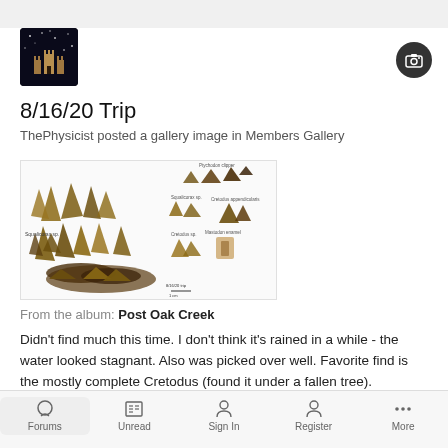8/16/20 Trip
ThePhysicist posted a gallery image in Members Gallery
[Figure (photo): Fossil teeth and bones collection photograph labeled with species names including Ptychodon clipper, Squalicorax sp., Cretodus appendicularis, Cretodus sp., Mastodon enamel, with scale bar.]
From the album: Post Oak Creek
Didn't find much this time. I don't think it's rained in a while - the water looked stagnant. Also was picked over well. Favorite find is the mostly complete Cretodus (found it under a fallen tree).
August 18, 2020  1
Forums  Unread  Sign In  Register  More